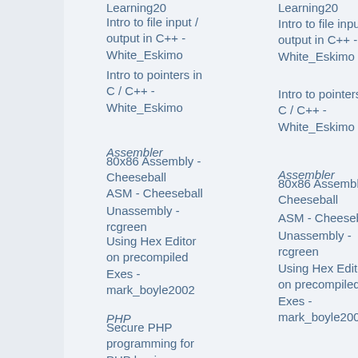Learning20
Intro to file input / output in C++ - White_Eskimo
Intro to pointers in C / C++ - White_Eskimo
Assembler
80x86 Assembly - Cheeseball
ASM - Cheeseball
Unassembly - rcgreen
Using Hex Editor on precompiled Exes - mark_boyle2002
PHP
Secure PHP programming for PHP beginners - chsh
PHP and a database - johnnymier
PHP/MySQL Logger - Sick Dwarf